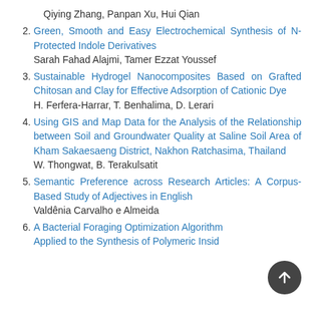Qiying Zhang, Panpan Xu, Hui Qian
2. Green, Smooth and Easy Electrochemical Synthesis of N-Protected Indole Derivatives
Sarah Fahad Alajmi, Tamer Ezzat Youssef
3. Sustainable Hydrogel Nanocomposites Based on Grafted Chitosan and Clay for Effective Adsorption of Cationic Dye
H. Ferfera-Harrar, T. Benhalima, D. Lerari
4. Using GIS and Map Data for the Analysis of the Relationship between Soil and Groundwater Quality at Saline Soil Area of Kham Sakaesaeng District, Nakhon Ratchasima, Thailand
W. Thongwat, B. Terakulsatit
5. Semantic Preference across Research Articles: A Corpus-Based Study of Adjectives in English
Valdênia Carvalho e Almeida
6. A Bacterial Foraging Optimization Algorithm Applied to the Synthesis of Polymeric Insides...